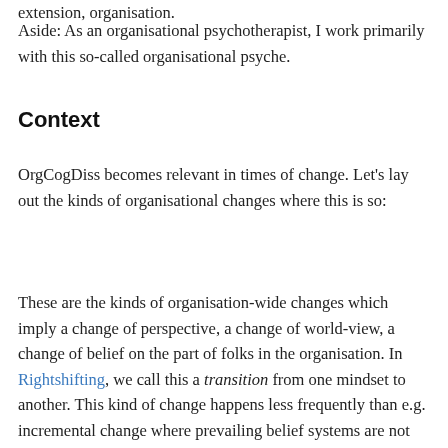extension, organisation.
Aside: As an organisational psychotherapist, I work primarily with this so-called organisational psyche.
Context
OrgCogDiss becomes relevant in times of change. Let’s lay out the kinds of organisational changes where this is so:
These are the kinds of organisation-wide changes which imply a change of perspective, a change of world-view, a change of belief on the part of folks in the organisation. In Rightshifting, we call this a transition from one mindset to another. This kind of change happens less frequently than e.g. incremental change where prevailing belief systems are not called into question.